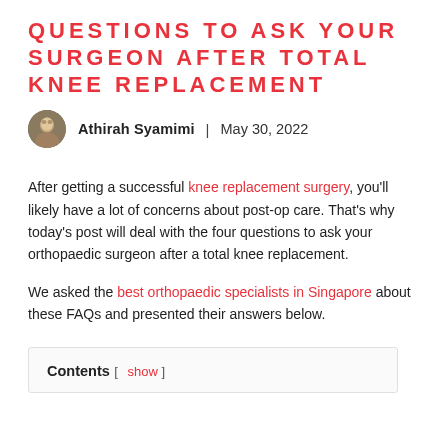QUESTIONS TO ASK YOUR SURGEON AFTER TOTAL KNEE REPLACEMENT
Athirah Syamimi  |  May 30, 2022
After getting a successful knee replacement surgery, you'll likely have a lot of concerns about post-op care. That's why today's post will deal with the four questions to ask your orthopaedic surgeon after a total knee replacement.
We asked the best orthopaedic specialists in Singapore about these FAQs and presented their answers below.
Contents [ show ]